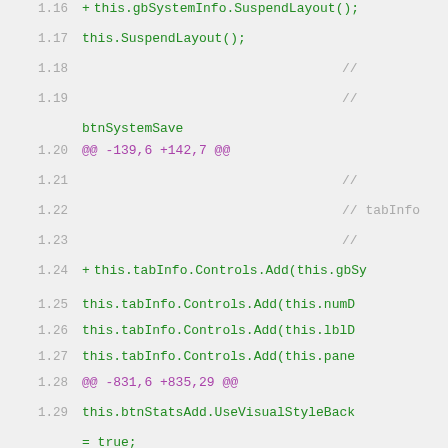1.16  +  this.gbSystemInfo.SuspendLayout();
1.17     this.SuspendLayout();
1.18                                    //
1.19                                    //
btnSystemSave
1.20  @@ -139,6 +142,7 @@
1.21                                    //
1.22                                    // tabInfo
1.23                                    //
1.24  +  this.tabInfo.Controls.Add(this.gbSy
1.25     this.tabInfo.Controls.Add(this.numD
1.26     this.tabInfo.Controls.Add(this.lblD
1.27     this.tabInfo.Controls.Add(this.pane
1.28  @@ -831,6 +835,29 @@
1.29     this.btnStatsAdd.UseVisualStyleBack = true;
1.30     this.btnStatsAdd.Click += new System.EventHandler(this.btnStatsAd